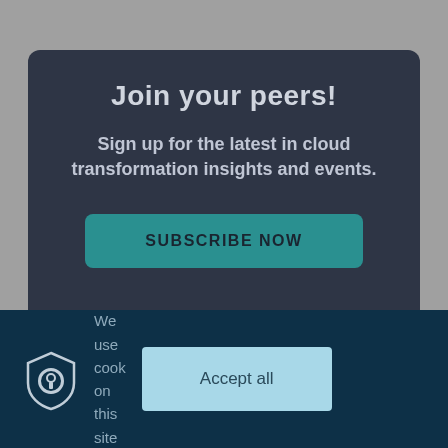Join your peers!
Sign up for the latest in cloud transformation insights and events.
SUBSCRIBE NOW
We use cook on this site
Accept all